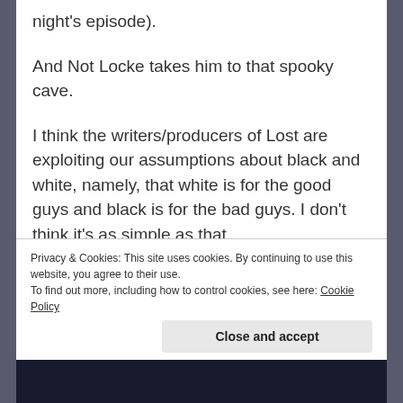night's episode).
And Not Locke takes him to that spooky cave.
I think the writers/producers of Lost are exploiting our assumptions about black and white, namely, that white is for the good guys and black is for the bad guys. I don't think it's as simple as that.
To me, the names all over the cave wall and ceiling are proof that Jacob is crazy. Insane crazy. Hell-bent on proving the Man in Black/Not Locke wrong — that
Privacy & Cookies: This site uses cookies. By continuing to use this website, you agree to their use.
To find out more, including how to control cookies, see here: Cookie Policy
Close and accept